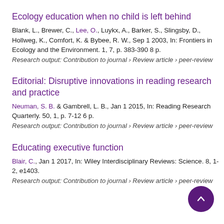Ecology education when no child is left behind
Blank, L., Brewer, C., Lee, O., Luykx, A., Barker, S., Slingsby, D., Hollweg, K., Comfort, K. & Bybee, R. W., Sep 1 2003, In: Frontiers in Ecology and the Environment. 1, 7, p. 383-390 8 p.
Research output: Contribution to journal › Review article › peer-review
Editorial: Disruptive innovations in reading research and practice
Neuman, S. B. & Gambrell, L. B., Jan 1 2015, In: Reading Research Quarterly. 50, 1, p. 7-12 6 p.
Research output: Contribution to journal › Review article › peer-review
Educating executive function
Blair, C., Jan 1 2017, In: Wiley Interdisciplinary Reviews: Science. 8, 1-2, e1403.
Research output: Contribution to journal › Review article › peer-review